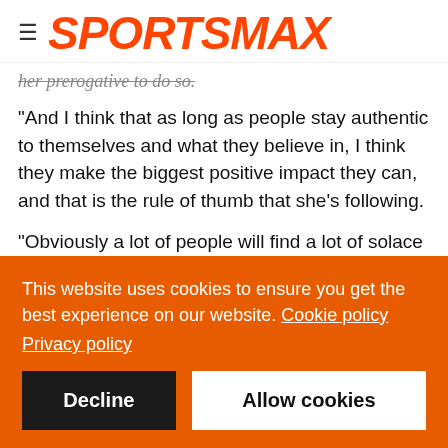SPORTSMAX
her prerogative to do so.
"And I think that as long as people stay authentic to themselves and what they believe in, I think they make the biggest positive impact they can, and that is the rule of thumb that she's following.
"Obviously a lot of people will find a lot of solace in someone as successful as her talking about things that maybe they experience but don't have the sort of social platform or, I guess, strength of voice to be able to put it in the public domain. Kudos
This website uses cookies to ensure you get the best experience on our website. Cookie policy
Privacy policy
Decline
Allow cookies